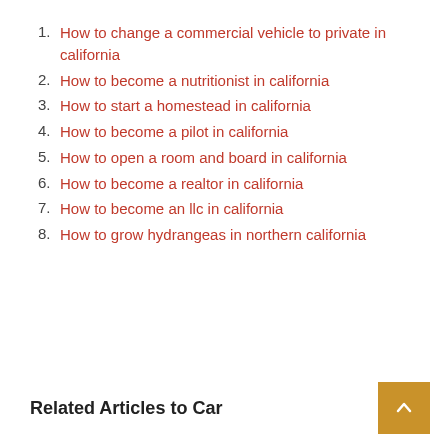1. How to change a commercial vehicle to private in california
2. How to become a nutritionist in california
3. How to start a homestead in california
4. How to become a pilot in california
5. How to open a room and board in california
6. How to become a realtor in california
7. How to become an llc in california
8. How to grow hydrangeas in northern california
Related Articles to Car